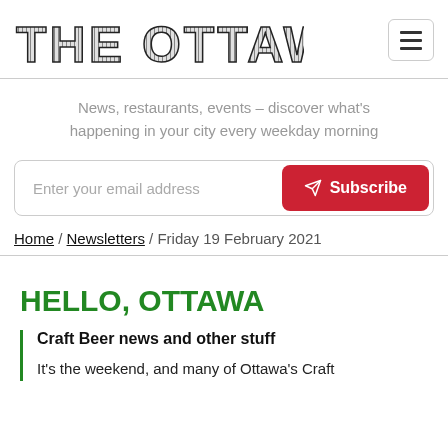THE OTTAWAN
News, restaurants, events – discover what's happening in your city every weekday morning
Enter your email address  Subscribe
Home / Newsletters / Friday 19 February 2021
HELLO, OTTAWA
Craft Beer news and other stuff
It's the weekend, and many of Ottawa's Craft